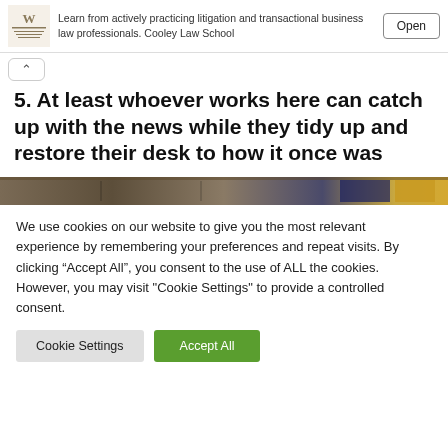[Figure (other): Advertisement banner with university logo, text about Cooley Law School, and an Open button]
Learn from actively practicing litigation and transactional business law professionals. Cooley Law School
5. At least whoever works here can catch up with the news while they tidy up and restore their desk to how it once was
[Figure (photo): Partial photo strip showing a desk scene]
We use cookies on our website to give you the most relevant experience by remembering your preferences and repeat visits. By clicking “Accept All”, you consent to the use of ALL the cookies. However, you may visit "Cookie Settings" to provide a controlled consent.